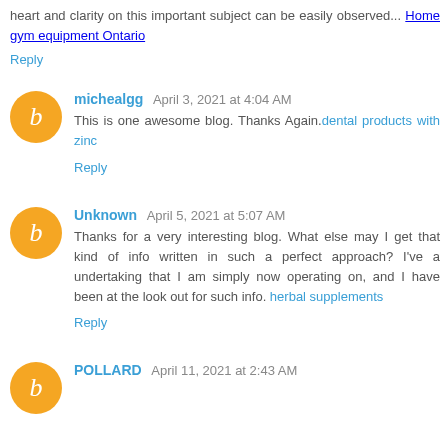heart and clarity on this important subject can be easily observed... Home gym equipment Ontario
Reply
michealgg April 3, 2021 at 4:04 AM
This is one awesome blog. Thanks Again.dental products with zinc
Reply
Unknown April 5, 2021 at 5:07 AM
Thanks for a very interesting blog. What else may I get that kind of info written in such a perfect approach? I've a undertaking that I am simply now operating on, and I have been at the look out for such info. herbal supplements
Reply
POLLARD April 11, 2021 at 2:43 AM